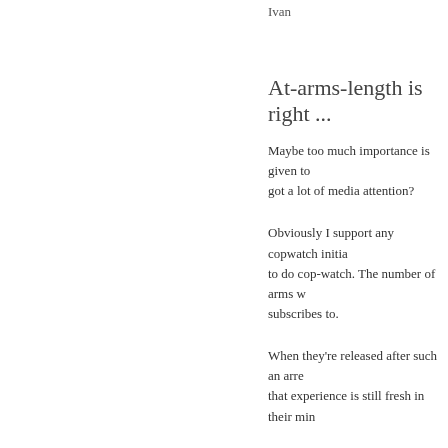Ivan
At-arms-length is right ...
Maybe too much importance is given to got a lot of media attention?
Obviously I support any copwatch initia to do cop-watch. The number of arms w subscribes to.
When they're released after such an arre that experience is still fresh in their min
It doesn't really matter does it?
All that matters is the cops thinking twi
Any work to that end has my full suppo
Clarify
Its sounds denouncing because it is. When yo they arent like yours thats how you get denou denounced.